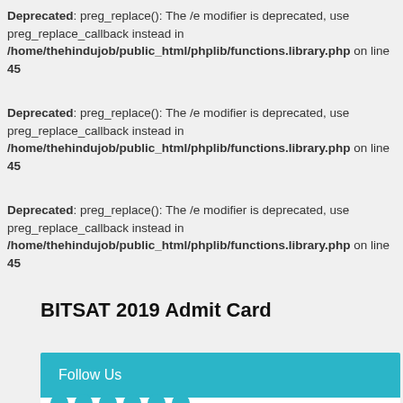Deprecated: preg_replace(): The /e modifier is deprecated, use preg_replace_callback instead in /home/thehindujob/public_html/phplib/functions.library.php on line 45
Deprecated: preg_replace(): The /e modifier is deprecated, use preg_replace_callback instead in /home/thehindujob/public_html/phplib/functions.library.php on line 45
Deprecated: preg_replace(): The /e modifier is deprecated, use preg_replace_callback instead in /home/thehindujob/public_html/phplib/functions.library.php on line 45
BITSAT 2019 Admit Card
Follow Us